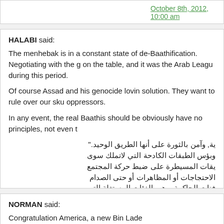October 8th, 2012, 10:00 am
HALABI said:
The menhebak is in a constant state of de-Baathification. Negotiating with the g on the table, and it was the Arab League during this period.
Of course Assad and his genocide lovin solution. They want to rule over our sku oppressors.
In any event, the real Baathis should be obviously have no principles, not even t
Arabic text paragraph
October 8th, 2012, 10:04 am
NORMAN said:
Congratulation America, a new Bin Lade
October 8th, 2012, 10:18 am